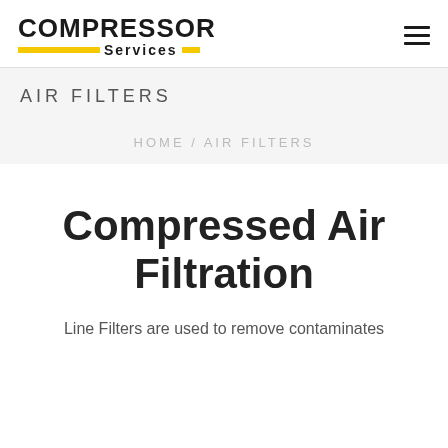COMPRESSOR Services
AIR FILTERS
HOME / AIR FILTERS
Compressed Air Filtration
Line Filters are used to remove contaminates